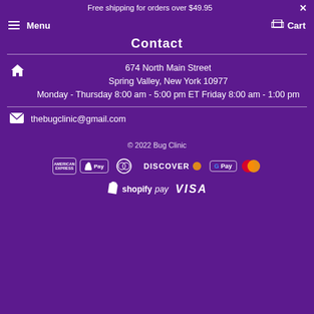Free shipping for orders over $49.95  ×
Menu   Cart
Contact
674 North Main Street
Spring Valley, New York 10977
Monday - Thursday 8:00 am - 5:00 pm ET Friday 8:00 am - 1:00 pm
thebugclinic@gmail.com
© 2022 Bug Clinic
[Figure (logo): Payment method icons: American Express, Apple Pay, Diners Club, Discover, Google Pay, Mastercard, Shopify Pay, Visa]